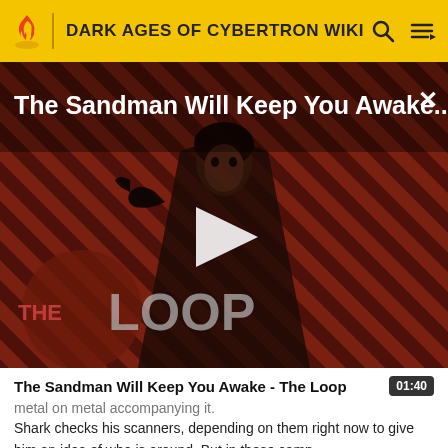DARK AGES OF CYBERTRON WIKI
[Figure (screenshot): Video thumbnail for 'The Sandman Will Keep You Awake - The Loop' showing a dark-clad figure against red and dark diagonal striped background, with THE LOOP watermark in lower left, a play button in the center, a close X in top right, and the video title overlaid in white text at top.]
The Sandman Will Keep You Awake - The Loop
metal on metal accompanying it.
Shark checks his scanners, depending on them right now to give him an idea of who is around. But in these camp